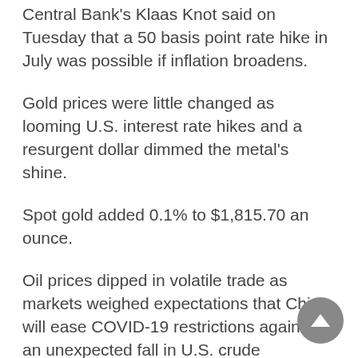Central Bank's Klaas Knot said on Tuesday that a 50 basis point rate hike in July was possible if inflation broadens.
Gold prices were little changed as looming U.S. interest rate hikes and a resurgent dollar dimmed the metal's shine.
Spot gold added 0.1% to $1,815.70 an ounce.
Oil prices dipped in volatile trade as markets weighed expectations that China will ease COVID-19 restrictions against an unexpected fall in U.S. crude stockpiles as refineries processed more crude.